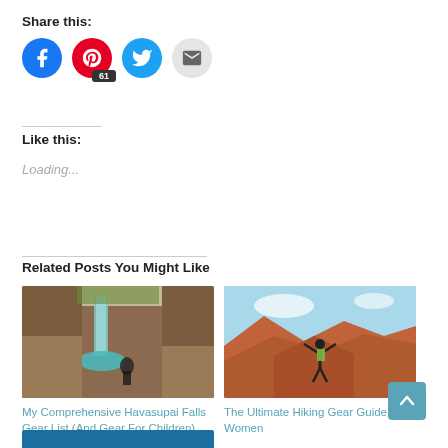Share this:
[Figure (infographic): Social share icons: Facebook (blue circle), Pinterest (red circle with badge showing 61), Twitter (cyan circle), Email (grey circle)]
Like this:
Loading...
Related Posts You Might Like
[Figure (photo): Person sitting by a turquoise waterfall in a rocky canyon - Havasupai Falls]
My Comprehensive Havasupai Falls Gear List (And Gear For Children)
[Figure (photo): Person standing with arms raised on red rock canyon formation - hiking scene]
The Ultimate Hiking Gear Guide For Women